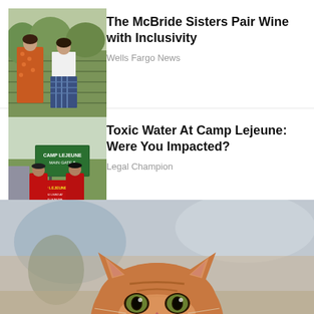[Figure (photo): Two women standing in a vineyard, one wearing an orange floral dress and one in a plaid skirt]
The McBride Sisters Pair Wine with Inclusivity
Wells Fargo News
[Figure (photo): Two men in red shirts standing in front of a Camp Lejeune Main Gate 5 sign]
Toxic Water At Camp Lejeune: Were You Impacted?
Legal Champion
[Figure (photo): An orange tabby cat peeking up from the bottom of the frame with green eyes]